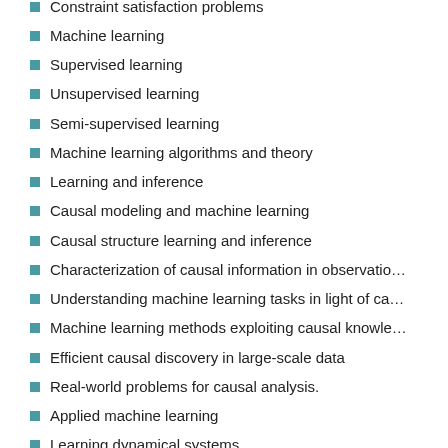Constraint satisfaction problems
Machine learning
Supervised learning
Unsupervised learning
Semi-supervised learning
Machine learning algorithms and theory
Learning and inference
Causal modeling and machine learning
Causal structure learning and inference
Characterization of causal information in observatio…
Understanding machine learning tasks in light of ca…
Machine learning methods exploiting causal knowle…
Efficient causal discovery in large-scale data
Real-world problems for causal analysis.
Applied machine learning
Learning dynamical systems
Learning algorithms for latent variable models
Latent social characteristics learning
Machine learning for intelligent IoT